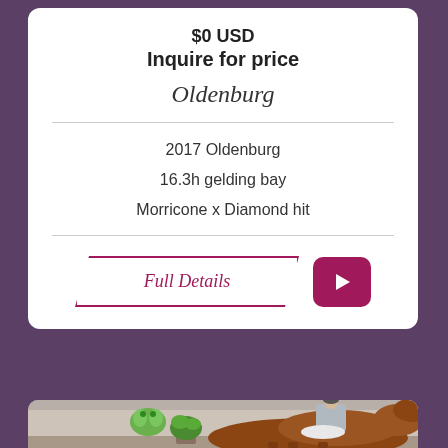$0 USD
Inquire for price
Oldenburg
2017 Oldenburg
16.3h gelding bay
Morricone x Diamond hit
Full Details
[Figure (photo): A rider on a chestnut horse in an indoor riding arena, with a green decorative frog visible in the background along with potted plants and wall panels.]